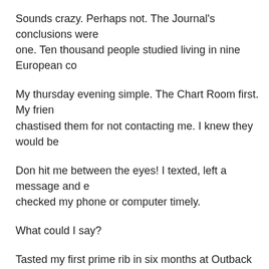Sounds crazy. Perhaps not. The Journal's conclusions were one. Ten thousand people studied living in nine European co
My thursday evening simple. The Chart Room first. My frien chastised them for not contacting me. I knew they would be
Don hit me between the eyes! I texted, left a message and e checked my phone or computer timely.
What could I say?
Tasted my first prime rib in six months at Outback later in the Delicious!
Key West is packed for the holiday weekend. Most hotels fu started coming in last night. Going to be a fun weekend!
Anna reports. Prices cheaper in Athens. No credit cards. Ca Europeans and Americans. An ad hoc demonstration yeste